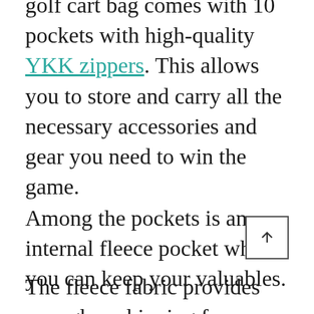golf cart bag comes with 10 pockets with high-quality YKK zippers. This allows you to store and carry all the necessary accessories and gear you need to win the game.
Among the pockets is an internal fleece pocket where you can keep your valuables.
The fleece fabric provides enough cushioning for your